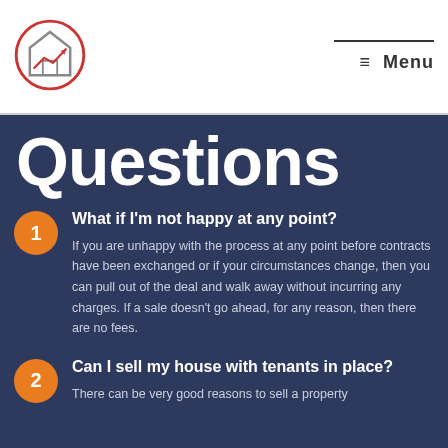[Figure (logo): House with upward arrow chart logo inside a red circle]
≡ Menu
Questions
1. What if I'm not happy at any point? If you are unhappy with the process at any point before contracts have been exchanged or if your circumstances change, then you can pull out of the deal and walk away without incurring any charges. If a sale doesn't go ahead, for any reason, then there are no fees.
2. Can I sell my house with tenants in place? There can be very good reasons to sell a property...